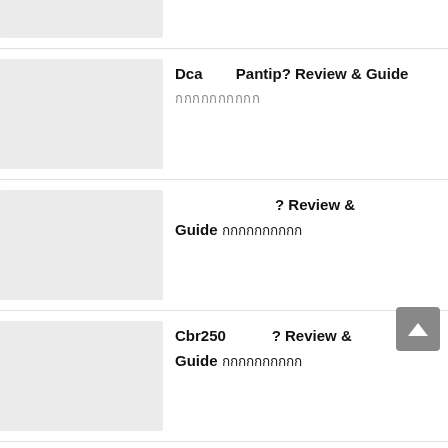[Figure (other): Thumbnail placeholder image (gray rectangle, partial, top of page)]
Dca Pantip? Review & Guide กกกกกกกกกก
? Review & Guide กกกกกกกกกก
Cbr250 ? Review & Guide กกกกกกกกกก
? Review & Guide กกกกกกกกกก